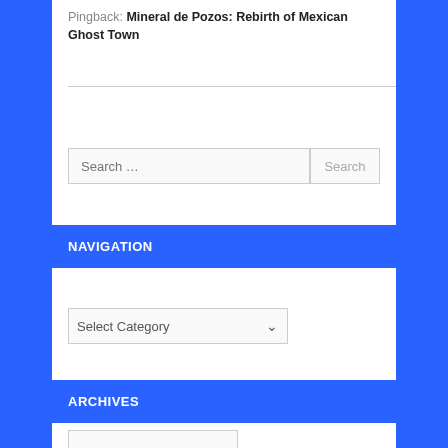Pingback: Mineral de Pozos: Rebirth of Mexican Ghost Town
Search ...
NAVIGATION
Select Category
ARCHIVES